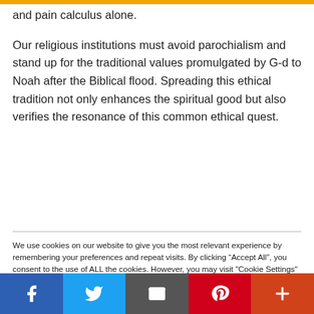and pain calculus alone.
Our religious institutions must avoid parochialism and stand up for the traditional values promulgated by G-d to Noah after the Biblical flood. Spreading this ethical tradition not only enhances the spiritual good but also verifies the resonance of this common ethical quest.
We use cookies on our website to give you the most relevant experience by remembering your preferences and repeat visits. By clicking “Accept All”, you consent to the use of ALL the cookies. However, you may visit "Cookie Settings" to provide a controlled consent.
Facebook | Twitter | Email | Pinterest | More